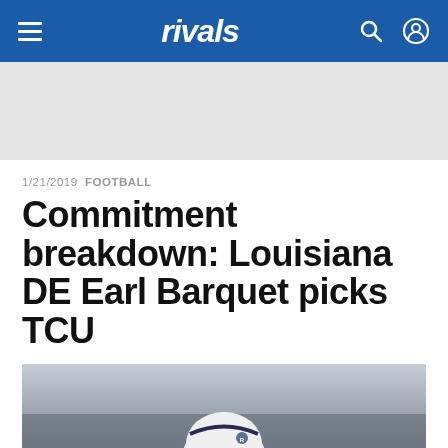rivals
1/21/2019  FOOTBALL
Commitment breakdown: Louisiana DE Earl Barquet picks TCU
[Figure (photo): Football player wearing a white helmet, photographed from approximately chest height up, outdoors with blurred background]